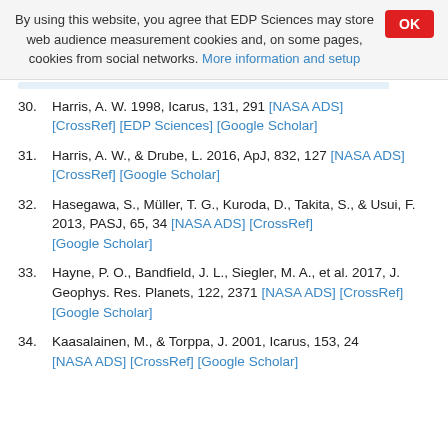By using this website, you agree that EDP Sciences may store web audience measurement cookies and, on some pages, cookies from social networks. More information and setup
30. Harris, A. W. 1998, Icarus, 131, 291 [NASA ADS] [CrossRef] [EDP Sciences] [Google Scholar]
31. Harris, A. W., & Drube, L. 2016, ApJ, 832, 127 [NASA ADS] [CrossRef] [Google Scholar]
32. Hasegawa, S., Müller, T. G., Kuroda, D., Takita, S., & Usui, F. 2013, PASJ, 65, 34 [NASA ADS] [CrossRef] [Google Scholar]
33. Hayne, P. O., Bandfield, J. L., Siegler, M. A., et al. 2017, J. Geophys. Res. Planets, 122, 2371 [NASA ADS] [CrossRef] [Google Scholar]
34. Kaasalainen, M., & Torppa, J. 2001, Icarus, 153, 24 [NASA ADS] [CrossRef] [Google Scholar]